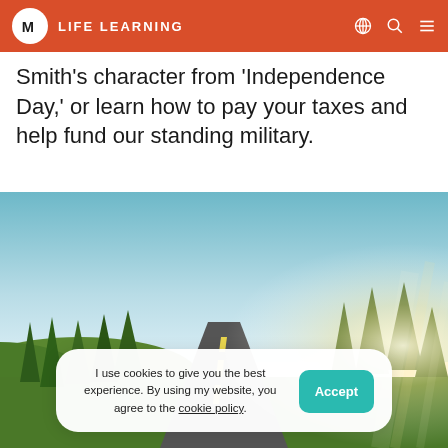LIFE LEARNING
Smith's character from 'Independence Day,' or learn how to pay your taxes and help fund our standing military.
[Figure (photo): A scenic road stretching into the distance flanked by tall evergreen trees and green hills, with bright sun rays breaking through on the right side under a clear sky.]
I use cookies to give you the best experience. By using my website, you agree to the cookie policy.